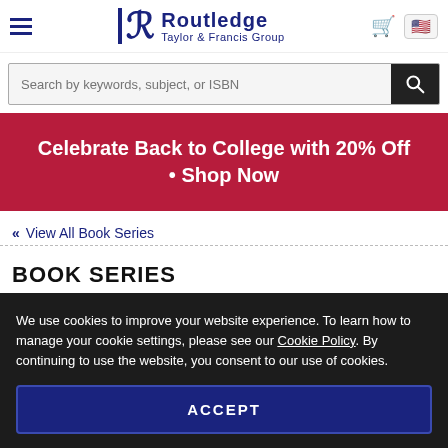Routledge Taylor & Francis Group
Search by keywords, subject, or ISBN
Celebrate Back to College with 20% Off • Shop Now
« View All Book Series
BOOK SERIES
We use cookies to improve your website experience. To learn how to manage your cookie settings, please see our Cookie Policy. By continuing to use the website, you consent to our use of cookies.
ACCEPT